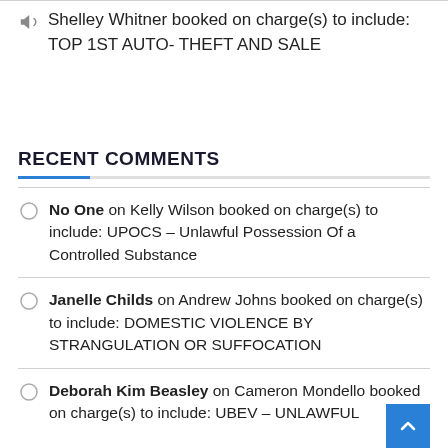Shelley Whitner booked on charge(s) to include: TOP 1ST AUTO- THEFT AND SALE
RECENT COMMENTS
No One on Kelly Wilson booked on charge(s) to include: UPOCS – Unlawful Possession Of a Controlled Substance
Janelle Childs on Andrew Johns booked on charge(s) to include: DOMESTIC VIOLENCE BY STRANGULATION OR SUFFOCATION
Deborah Kim Beasley on Cameron Mondello booked on charge(s) to include: UBEV – UNLAWFUL